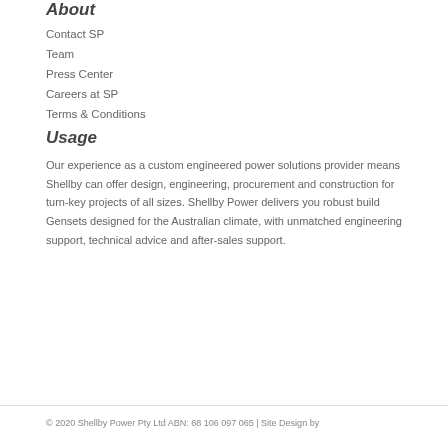About
Contact SP
Team
Press Center
Careers at SP
Terms & Conditions
Usage
Our experience as a custom engineered power solutions provider means Shellby can offer design, engineering, procurement and construction for turn-key projects of all sizes. Shellby Power delivers you robust build Gensets designed for the Australian climate, with unmatched engineering support, technical advice and after-sales support.
© 2020 Shellby Power Pty Ltd ABN: 68 106 097 065 | Site Design by